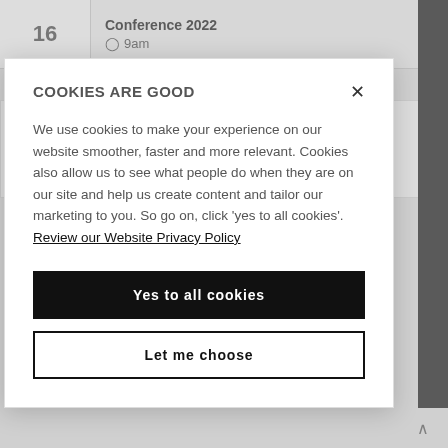16
Conference 2022
⊙ 9am
Sep 19 - 22
35th international Forum for Research into Ice Shelf Processes: FRISP 2022
COOKIES ARE GOOD
We use cookies to make your experience on our website smoother, faster and more relevant. Cookies also allow us to see what people do when they are on our site and help us create content and tailor our marketing to you. So go on, click 'yes to all cookies'. Review our Website Privacy Policy
Yes to all cookies
Let me choose